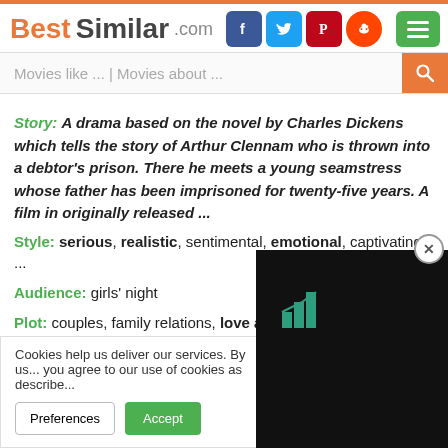BestSimilar.com
Movies like ... | Movies about ...
Story: A drama based on the novel by Charles Dickens which tells the story of Arthur Clennam who is thrown into a debtor's prison. There he meets a young seamstress whose father has been imprisoned for twenty-five years. A film in originally released ...
Style: serious, realistic, sentimental, emotional, captivating ...
Audience: girls' night
Plot: couples, family relations, love and romance, society, rise to the top, life is a bitch, master and servant, down on your luck, couple relations, parents and children, social differences, fall in love ...
Time: 19th century, victorian era
Cookies help us deliver our services. By us... you agree to our use of cookies as describe...